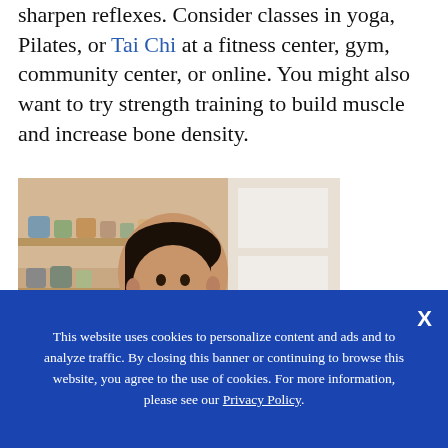sharpen reflexes. Consider classes in yoga, Pilates, or Tai Chi at a fitness center, gym, community center, or online. You might also want to try strength training to build muscle and increase bone density.
[Figure (photo): A young person smiling in a kitchen setting with shelves of jars and containers in the background, wearing a dark red/maroon top.]
This website uses cookies to personalize content and ads and to analyze traffic. By closing this banner or continuing to browse this website, you agree to the use of cookies. For more information, please see our Privacy Policy.